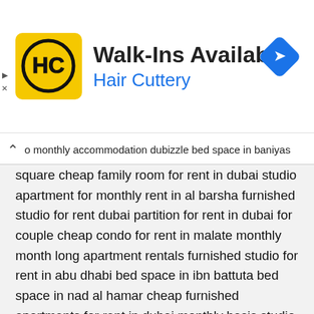[Figure (logo): Hair Cuttery advertisement banner with HC logo, text 'Walk-Ins Available' and 'Hair Cuttery', and a blue navigation arrow icon]
monthly accommodation dubizzle bed space in baniyas square cheap family room for rent in dubai studio apartment for monthly rent in al barsha furnished studio for rent dubai partition for rent in dubai for couple cheap condo for rent in malate monthly month long apartment rentals furnished studio for rent in abu dhabi bed space in ibn battuta bed space in nad al hamar cheap furnished apartments for rent in dubai monthly basis studio for rent in silicon oasis furnished studio for rent in international city direct from owner room for rent in sharjah monthly basis family room for rent in dubai monthly basis hotel apartment in business bay monthly basis room for rent barsha couple room for rent near me dubai short term apartments short term flat rental partition for rent in al muteena studio for rent in karama monthly 1500 cheap rooms for rent in karama family